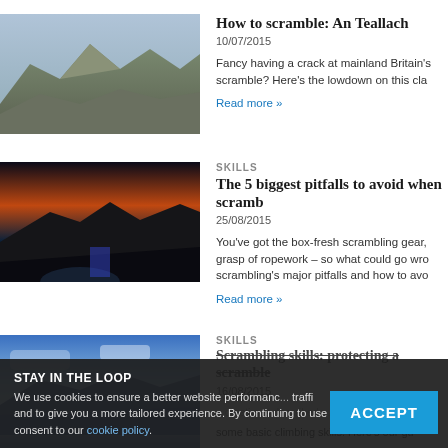[Figure (photo): Mountain ridge scrambling scene with rocky peaks]
How to scramble: An Teallach
10/07/2015
Fancy having a crack at mainland Britain's scramble? Here's the lowdown on this cla
Read more »
SKILLS
[Figure (photo): Climbers on dark rocky ridge at sunset with orange sky and water below]
The 5 biggest pitfalls to avoid when scramb
25/08/2015
You've got the box-fresh scrambling gear, grasp of ropework - so what could go wro scrambling's major pitfalls and how to avo
Read more »
SKILLS
[Figure (photo): Blue sky mountain ridge scrambling scene]
Scrambling skills: protecting a scramble
16/08/2015
STAY IN THE LOOP
We use cookies to ensure a better website performance and traffic and to give you a more tailored experience. By continuing to use the website, consent to our cookie policy.